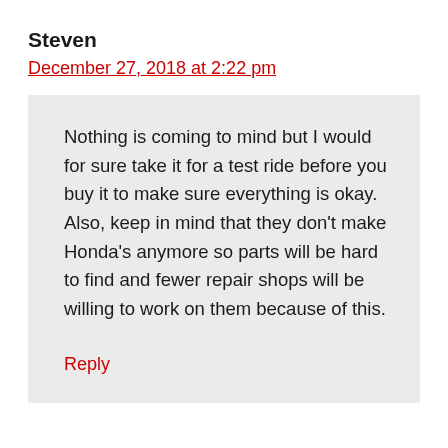Steven
December 27, 2018 at 2:22 pm
Nothing is coming to mind but I would for sure take it for a test ride before you buy it to make sure everything is okay. Also, keep in mind that they don’t make Honda’s anymore so parts will be hard to find and fewer repair shops will be willing to work on them because of this.
Reply